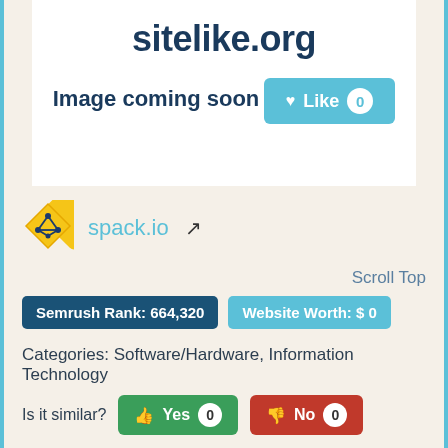sitelike.org
Image coming soon
[Figure (other): Like button with heart icon and count 0]
[Figure (logo): spack.io logo diamond shape with network graph icon]
spack.io
Scroll Top
Semrush Rank: 664,320
Website Worth: $ 0
Categories: Software/Hardware, Information Technology
Is it similar?